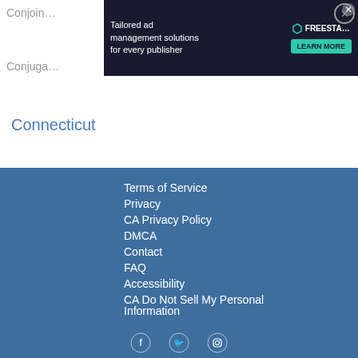Conjoin…
Conjuga…
[Figure (screenshot): Advertisement banner: 'Tailored ad management solutions for every publisher' with FREESTA logo and LEARN MORE button on dark background]
Connecticut
Terms of Service
Privacy
CA Privacy Policy
DMCA
Contact
FAQ
Accessibility
CA Do Not Sell My Personal Information
[Figure (illustration): Social media icons: Facebook, Twitter, Instagram]